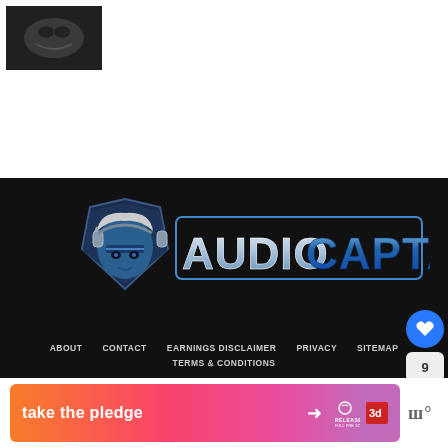[Figure (photo): Small dark thumbnail image in upper left corner of page, appears to show an animal or dark scene]
[Figure (logo): AudioCaptain logo on dark black background. Features a blue-skinned character with headphones on the left, and stylized text 'AUDIOCAPTAIN' in silver/blue gradient on the right]
ABOUT   CONTACT   EARNINGS DISCLAIMER   PRIVACY   SITEMAP
TERMS & CONDITIONS
[Figure (infographic): Banner ad with orange-to-pink gradient reading 'take the pledge' with an arrow, Release logo, Ed box logo, and another logo on right side]